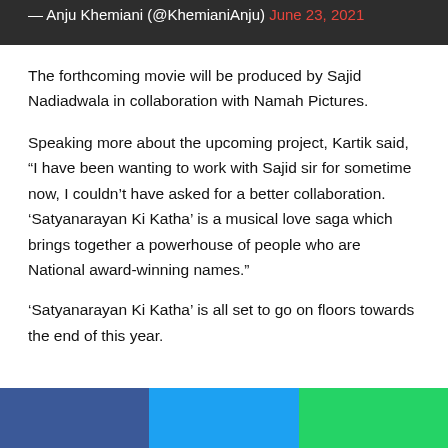— Anju Khemiani (@KhemianiAnju) June 23, 2021
The forthcoming movie will be produced by Sajid Nadiadwala in collaboration with Namah Pictures.
Speaking more about the upcoming project, Kartik said, “I have been wanting to work with Sajid sir for sometime now, I couldn’t have asked for a better collaboration. ‘Satyanarayan Ki Katha’ is a musical love saga which brings together a powerhouse of people who are National award-winning names.”
‘Satyanarayan Ki Katha’ is all set to go on floors towards the end of this year.
[Figure (other): Share bar with three colored sections: blue (Facebook), light blue (Twitter), green (WhatsApp)]